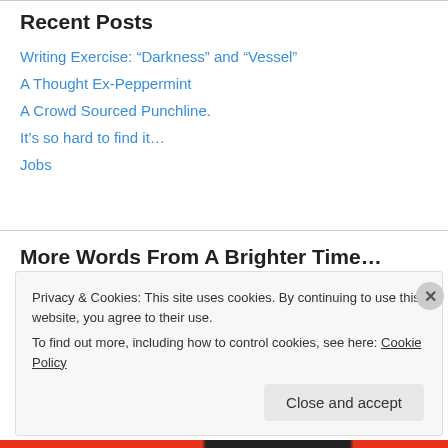Recent Posts
Writing Exercise: “Darkness” and “Vessel”
A Thought Ex-Peppermint
A Crowd Sourced Punchline.
It’s so hard to find it…
Jobs
More Words From A Brighter Time…
NOVEMBER 2013
Privacy & Cookies: This site uses cookies. By continuing to use this website, you agree to their use.
To find out more, including how to control cookies, see here: Cookie Policy
Close and accept